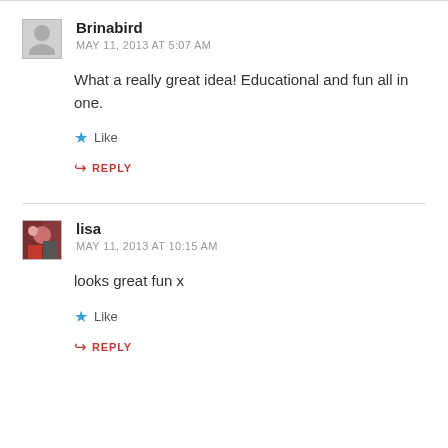Brinabird
MAY 11, 2013 AT 5:07 AM
What a really great idea! Educational and fun all in one.
Like
REPLY
lisa
MAY 11, 2013 AT 10:15 AM
looks great fun x
Like
REPLY